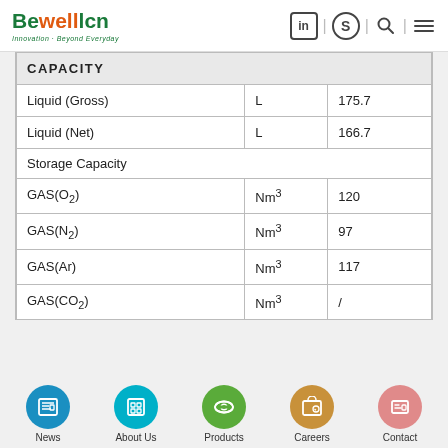Bewellcn | Innovation · Beyond Everyday
|  |  |  |
| --- | --- | --- |
| CAPACITY |  |  |
| Liquid (Gross) | L | 175.7 |
| Liquid (Net) | L | 166.7 |
| Storage Capacity |  |  |
| GAS(O2) | Nm³ | 120 |
| GAS(N₂) | Nm³ | 97 |
| GAS(Ar) | Nm³ | 117 |
| GAS(CO₂) | Nm³ | / |
News | About Us | Products | Careers | Contact